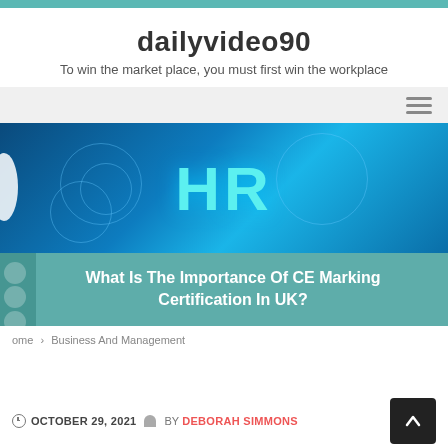dailyvideo90
To win the market place, you must first win the workplace
[Figure (photo): HR technology banner image with glowing blue digital background and large cyan 'HR' text in the center]
What Is The Importance Of CE Marking Certification In UK?
Home > Business And Management
© OCTOBER 29, 2021  BY DEBORAH SIMMONS